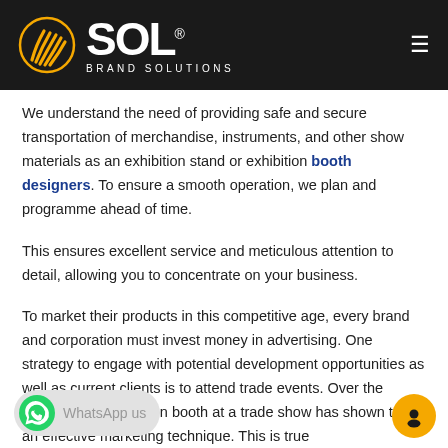SOL® BRAND SOLUTIONS
We understand the need of providing safe and secure transportation of merchandise, instruments, and other show materials as an exhibition stand or exhibition booth designers. To ensure a smooth operation, we plan and programme ahead of time.
This ensures excellent service and meticulous attention to detail, allowing you to concentrate on your business.
To market their products in this competitive age, every brand and corporation must invest money in advertising. One strategy to engage with potential development opportunities as well as current clients is to attend trade events. Over the [years, having] an exhibition booth at a trade show has shown to be an effective marketing technique. This is true